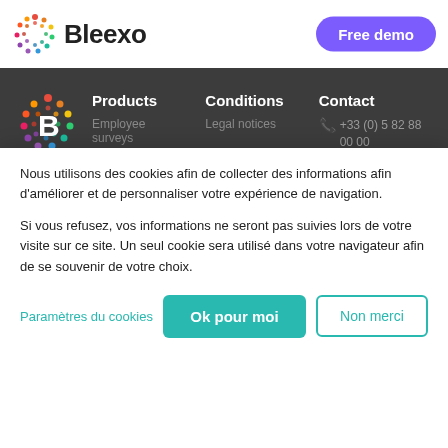Bleexo | Free demo
[Figure (logo): Bleexo colorful circular logo with dots]
Products | Conditions | Contact | Employee surveys | Legal notices | +33 (0) 5 82 88 00 00
Nous utilisons des cookies afin de collecter des informations afin d'améliorer et de personnaliser votre expérience de navigation.

Si vous refusez, vos informations ne seront pas suivies lors de votre visite sur ce site. Un seul cookie sera utilisé dans votre navigateur afin de se souvenir de votre choix.
Paramètres du cookies
Ok pour moi
Non merci